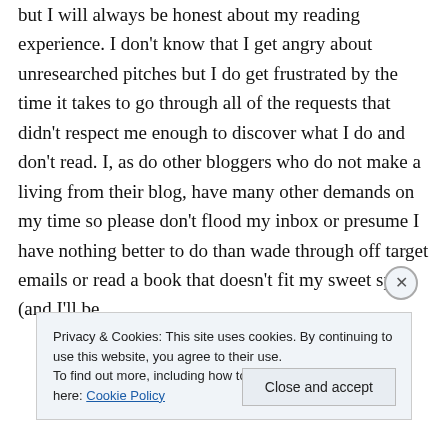but I will always be honest about my reading experience. I don't know that I get angry about unresearched pitches but I do get frustrated by the time it takes to go through all of the requests that didn't respect me enough to discover what I do and don't read. I, as do other bloggers who do not make a living from their blog, have many other demands on my time so please don't flood my inbox or presume I have nothing better to do than wade through off target emails or read a book that doesn't fit my sweet spot (and I'll be
Privacy & Cookies: This site uses cookies. By continuing to use this website, you agree to their use.
To find out more, including how to control cookies, see here: Cookie Policy